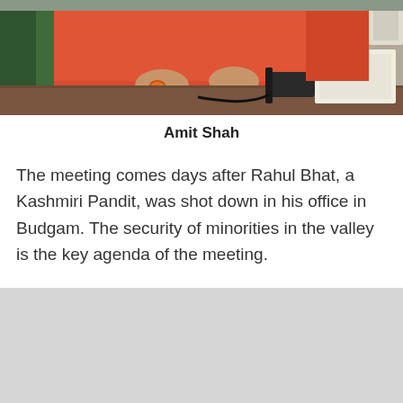[Figure (photo): A person in a red/pink shirt sitting at a table with documents and a microphone, partially visible.]
Amit Shah
The meeting comes days after Rahul Bhat, a Kashmiri Pandit, was shot down in his office in Budgam. The security of minorities in the valley is the key agenda of the meeting.